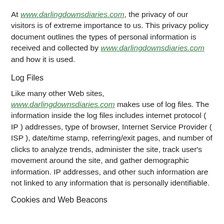At www.darlingdownsdiaries.com, the privacy of our visitors is of extreme importance to us. This privacy policy document outlines the types of personal information is received and collected by www.darlingdownsdiaries.com and how it is used.
Log Files
Like many other Web sites, www.darlingdownsdiaries.com makes use of log files. The information inside the log files includes internet protocol ( IP ) addresses, type of browser, Internet Service Provider ( ISP ), date/time stamp, referring/exit pages, and number of clicks to analyze trends, administer the site, track user's movement around the site, and gather demographic information. IP addresses, and other such information are not linked to any information that is personally identifiable.
Cookies and Web Beacons